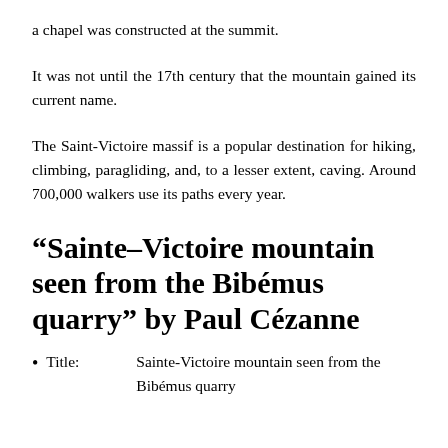a chapel was constructed at the summit.
It was not until the 17th century that the mountain gained its current name.
The Saint-Victoire massif is a popular destination for hiking, climbing, paragliding, and, to a lesser extent, caving. Around 700,000 walkers use its paths every year.
“Sainte–Victoire mountain seen from the Bibémus quarry” by Paul Cézanne
Title: Sainte-Victoire mountain seen from the Bibémus quarry